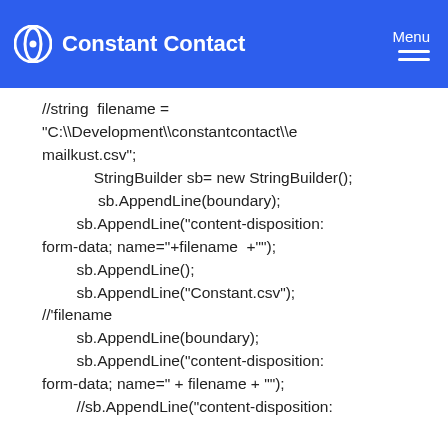Constant Contact | Menu
//string  filename =
"C:\\Development\\constantcontact\\emailkust.csv";
            StringBuilder sb= new StringBuilder();
             sb.AppendLine(boundary);
        sb.AppendLine("content-disposition: form-data; name="+filename  +"");
        sb.AppendLine();
        sb.AppendLine("Constant.csv");
//'filename
        sb.AppendLine(boundary);
        sb.AppendLine("content-disposition: form-data; name=" + filename + "");
        //sb.AppendLine("content-disposition: